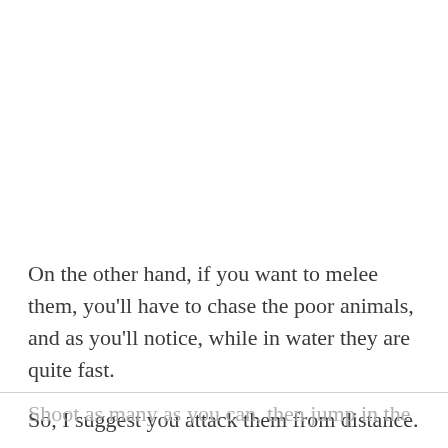On the other hand, if you want to melee them, you'll have to chase the poor animals, and as you'll notice, while in water they are quite fast.

So, I suggest you attack them from distance.
Shoot as many as you can, then jump in the